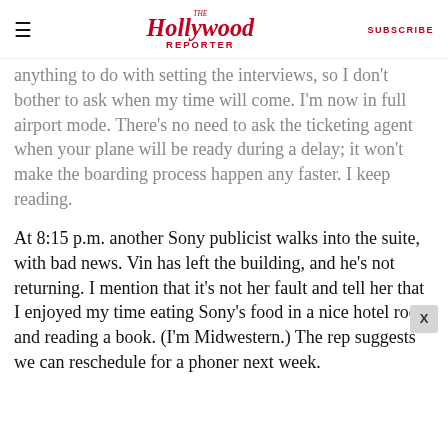The Hollywood Reporter | SUBSCRIBE
anything to do with setting the interviews, so I don't bother to ask when my time will come. I'm now in full airport mode. There's no need to ask the ticketing agent when your plane will be ready during a delay; it won't make the boarding process happen any faster. I keep reading.
At 8:15 p.m. another Sony publicist walks into the suite, with bad news. Vin has left the building, and he's not returning. I mention that it's not her fault and tell her that I enjoyed my time eating Sony's food in a nice hotel room and reading a book. (I'm Midwestern.) The rep suggests we can reschedule for a phoner next week.